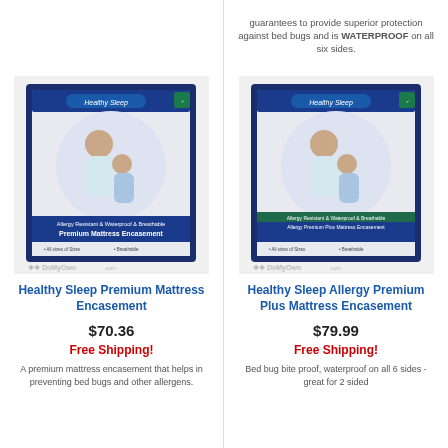guarantees to provide superior protection against bed bugs and is WATERPROOF on all six sides.
[Figure (photo): Healthy Sleep Premium Mattress Encasement product package photo with DoMyOwn.com watermark]
[Figure (photo): Healthy Sleep Allergy Premium Plus Mattress Encasement product package photo with DoMyOwn.com watermark]
Healthy Sleep Premium Mattress Encasement
Healthy Sleep Allergy Premium Plus Mattress Encasement
$70.36
$79.99
Free Shipping!
Free Shipping!
A premium mattress encasement that helps in preventing bed bugs and other allergens.
Bed bug bite proof, waterproof on all 6 sides - great for 2 sided